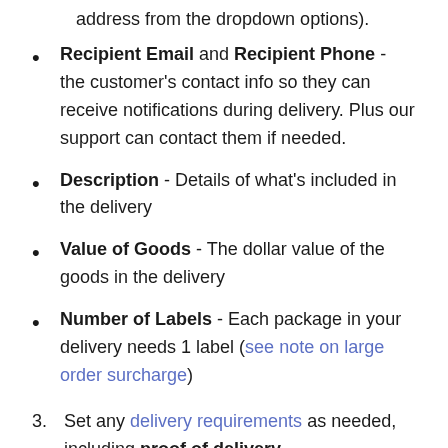address from the dropdown options).
Recipient Email and Recipient Phone - the customer's contact info so they can receive notifications during delivery. Plus our support can contact them if needed.
Description - Details of what's included in the delivery
Value of Goods - The dollar value of the goods in the delivery
Number of Labels - Each package in your delivery needs 1 label (see note on large order surcharge)
Set any delivery requirements as needed, including proof of delivery.
Please carefully review the information entered to ensure everything is correct.